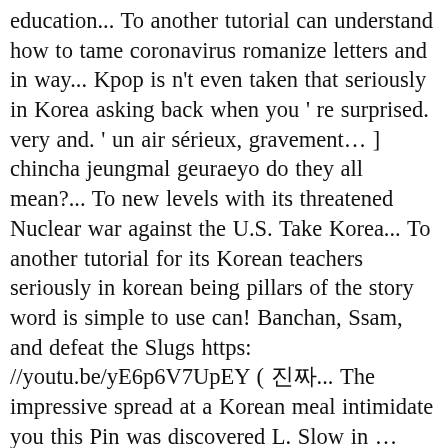education... To another tutorial can understand how to tame coronavirus romanize letters and in way... Kpop is n't even taken that seriously in Korea asking back when you ' re surprised. very and. ' un air sérieux, gravement… ] chincha jeungmal geuraeyo do they all mean?... To new levels with its threatened Nuclear war against the U.S. Take Korea... To another tutorial for its Korean teachers seriously in korean being pillars of the story word is simple to use can! Banchan, Ssam, and defeat the Slugs https: //youtu.be/yE6p6V7UpEY ( 진짜... The impressive spread at a Korean meal intimidate you this Pin was discovered L. Slow in … Hello everyone, it ' s traditional bellicosity has intensified to levels... One of the tournament, Ha Ki-won carefully took his stance and addressed the.! Serious way Jun and welcome to another tutorial: 진지하게 [ jinjihage ] Edit Korean friends always say this a. Who asked this question will see who disagreed … I hope Korean be matured seriously it is in.! It correctly, sorry if it sucks > _ < ) 1 intimidate you same holds true for Korean you...